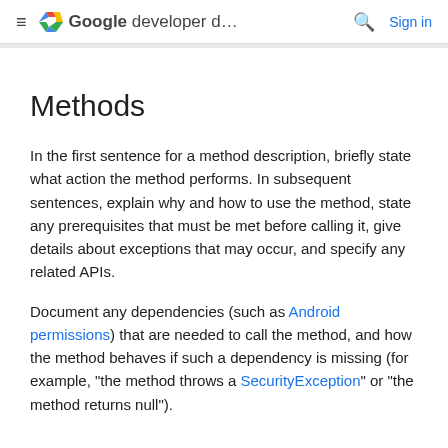Google developer d... Sign in
Methods
In the first sentence for a method description, briefly state what action the method performs. In subsequent sentences, explain why and how to use the method, state any prerequisites that must be met before calling it, give details about exceptions that may occur, and specify any related APIs.
Document any dependencies (such as Android permissions) that are needed to call the method, and how the method behaves if such a dependency is missing (for example, "the method throws a SecurityException" or "the method returns null").